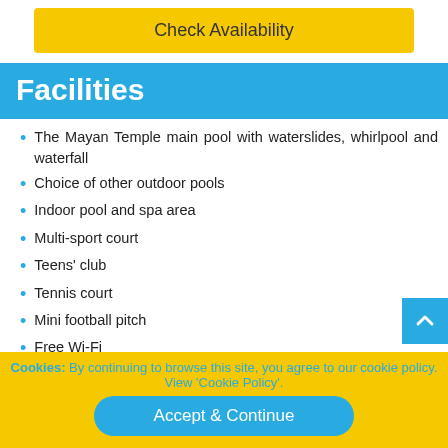Check Availability
Facilities
The Mayan Temple main pool with waterslides, whirlpool and waterfall
Choice of other outdoor pools
Indoor pool and spa area
Multi-sport court
Teens' club
Tennis court
Mini football pitch
Free Wi-Fi
Archery
Children's playground
Creche
5 restaurants
Cookies: By continuing to browse this site, you agree to our cookie policy. View 'Cookie Policy'.
Accept & Continue